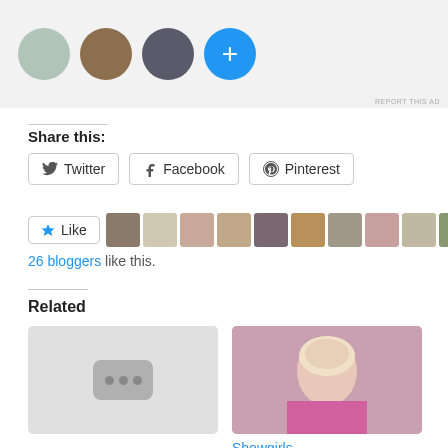[Figure (screenshot): Ad area with three circular profile photo avatars and a blue plus button on a light gray background. 'REPORT THIS AD' text in small caps at bottom right.]
Share this:
[Figure (screenshot): Three share buttons: Twitter, Facebook, Pinterest with icons]
[Figure (screenshot): A Like button with star icon followed by a row of small blogger profile thumbnails]
26 bloggers like this.
Related
[Figure (screenshot): Related article card with placeholder video thumbnail (gray with ellipsis icon)]
[Figure (photo): Related article thumbnail showing a blonde woman in pink - Showgirls]
Showgirls
July 16, 2016